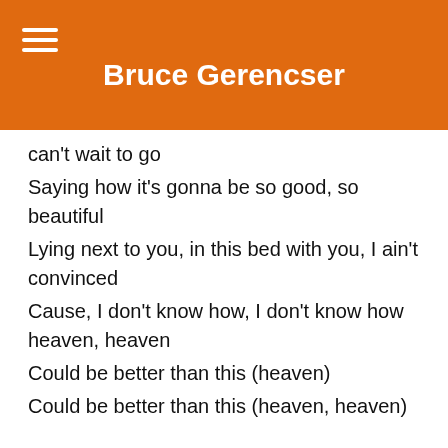Bruce Gerencser
can't wait to go
Saying how it's gonna be so good, so beautiful
Lying next to you, in this bed with you, I ain't convinced
Cause, I don't know how, I don't know how heaven, heaven
Could be better than this (heaven)
Could be better than this (heaven, heaven)
I swear this is perfect
Come kiss me one more time
Series Navigation